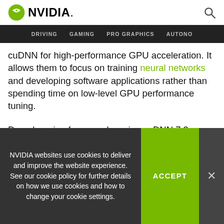NVIDIA. [logo] [search icon]
DRIVING  GAMING  PRO GRAPHICS  AUTONO
cuDNN for high-performance GPU acceleration. It allows them to focus on training neural networks and developing software applications rather than spending time on low-level GPU performance tuning.
Deep learning frameworks using cuDNN 7.3 can leverage new features and performance of the Turing architecture to deliver faster training performance. cuDNN 7.3 highlights include improved grouped
NVIDIA websites use cookies to deliver and improve the website experience. See our cookie policy for further details on how we use cookies and how to change your cookie settings.
ACCEPT
×